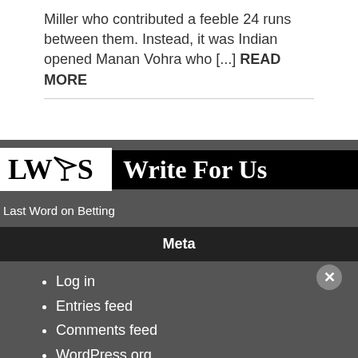Miller who contributed a feeble 24 runs between them. Instead, it was Indian opened Manan Vohra who [...] READ MORE
[Figure (logo): LWS logo with paper plane icon and 'Write For Us' banner on dark background]
Last Word on Betting
Meta
Log in
Entries feed
Comments feed
WordPress.org